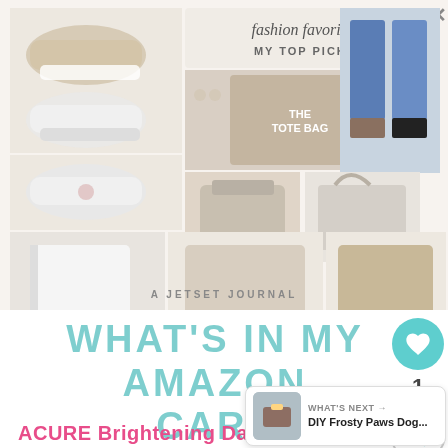[Figure (photo): Fashion favorites collage advertisement from A Jetset Journal showing shoes, handbags, and women's clothing items including blazers and tops. Text reads 'fashion favorites MY TOP PICKS' with 'THE TOTE BAG' label and 'A JETSET JOURNAL' at bottom.]
WHAT'S IN MY AMAZON CART
ACURE Brightening Day Cream
about my use of Acure products before, but this day cream is a new one for me. I was